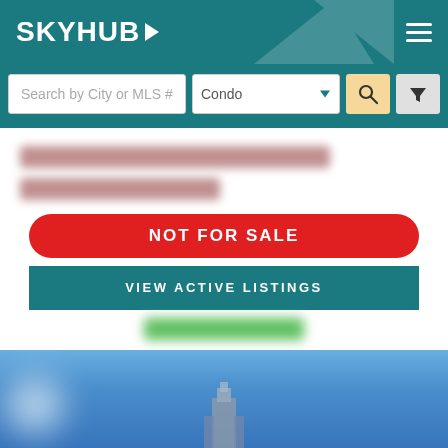SKYHUB
[Figure (screenshot): Search bar with 'Search by City or MLS #' input, 'Condo' dropdown, search icon button, and filter icon button]
[Figure (photo): Blurred/redacted property address text (two lines, personal information obscured)]
NOT FOR SALE
VIEW ACTIVE LISTINGS
[Figure (photo): Blurred green button/element below VIEW ACTIVE LISTINGS]
[Figure (photo): Bottom section showing blurred exterior photo of a building with blue sky background]